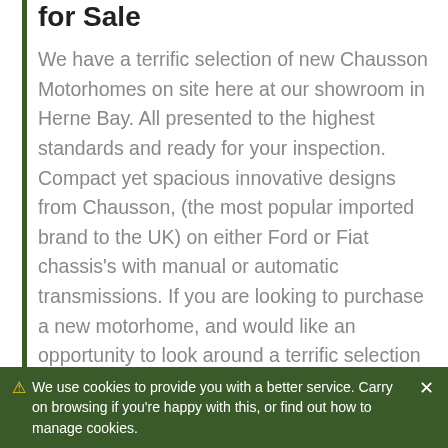for Sale
We have a terrific selection of new Chausson Motorhomes on site here at our showroom in Herne Bay. All presented to the highest standards and ready for your inspection. Compact yet spacious innovative designs from Chausson, (the most popular imported brand to the UK) on either Ford or Fiat chassis's with manual or automatic transmissions. If you are looking to purchase a new motorhome, and would like an opportunity to look around a terrific selection of vehicles, unhurried by over eager
We use cookies to provide you with a better service. Carry on browsing if you're happy with this, or find out how to manage cookies.